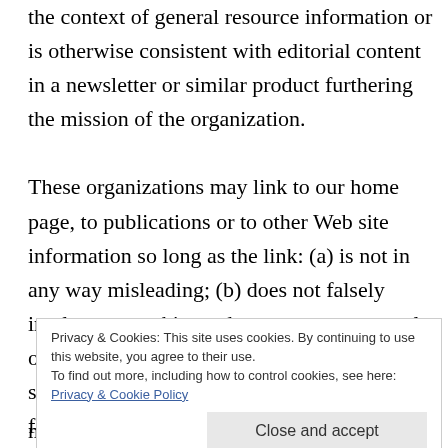the context of general resource information or is otherwise consistent with editorial content in a newsletter or similar product furthering the mission of the organization.

These organizations may link to our home page, to publications or to other Web site information so long as the link: (a) is not in any way misleading; (b) does not falsely imply sponsorship, endorsement or approval of the linking party and it products or services; and (c) f
Privacy & Cookies: This site uses cookies. By continuing to use this website, you agree to their use.
To find out more, including how to control cookies, see here: Privacy & Cookie Policy
Close and accept
must notify us by sending an e-mail to